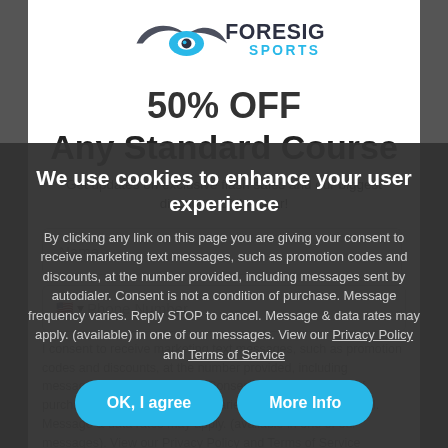[Figure (logo): Foresight Sports logo with eye icon and text]
50% OFF Any Standard Course
Get updates on exclusive flash sales and our biggest discounts of the year!
We use cookies to enhance your user experience
By clicking any link on this page you are giving your consent for us to set cookies.